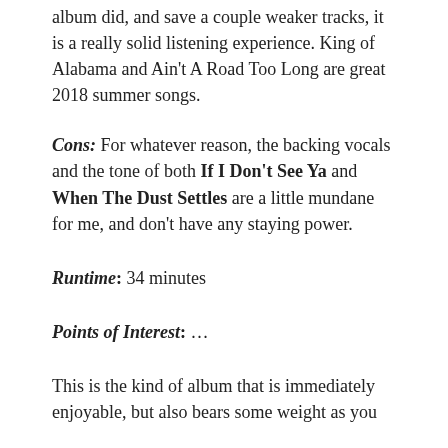album did, and save a couple weaker tracks, it is a really solid listening experience. King of Alabama and Ain't A Road Too Long are great 2018 summer songs.
Cons: For whatever reason, the backing vocals and the tone of both If I Don't See Ya and When The Dust Settles are a little mundane for me, and don't have any staying power.
Runtime: 34 minutes
Points of Interest: ...
This is the kind of album that is immediately enjoyable, but also bears some weight as you